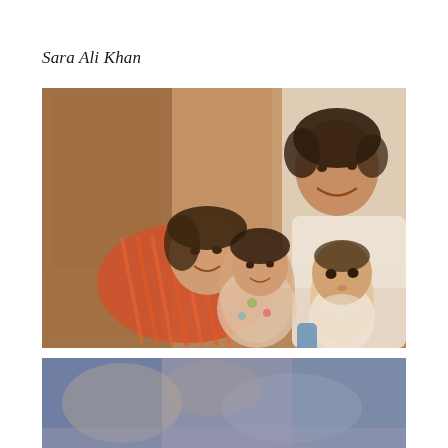Sara Ali Khan
[Figure (photo): A vintage family photograph showing a woman in striped red/orange dress lying on the floor smiling, a man in white t-shirt behind her with curly hair smiling, a young girl in floral dress in the center, and a baby in white on the right. They are posing together indoors with wooden furniture visible in the background.]
[Figure (photo): Partial view of another photograph at the bottom of the page, showing a blurred colorful image.]